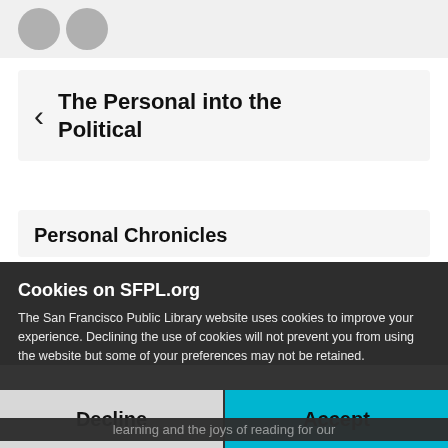[Figure (screenshot): Two partially visible gray avatar circles in a top navigation bar]
The Personal into the Political
Personal Chronicles
Cookies on SFPL.org
The San Francisco Public Library website uses cookies to improve your experience. Declining the use of cookies will not prevent you from using the website but some of your preferences may not be retained.
Decline
Accept
learning and the joys of reading for our